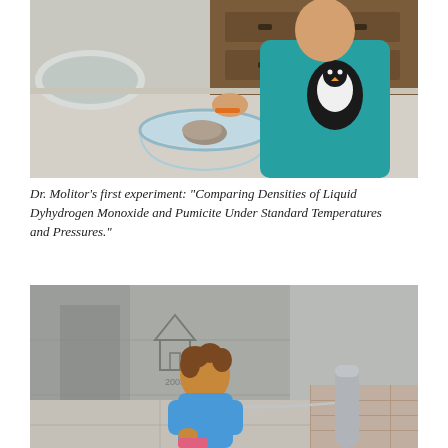[Figure (photo): A child in a teal shirt holding a penguin toy stands at a counter, placing a pumice stone into a glass bowl filled with water.]
Dr. Molitor’s first experiment: “Comparing Densities of Liquid Dyhydrogen Monoxide and Pumicite Under Standard Temperatures and Pressures.”
[Figure (photo): A toddler with curly hair wearing a blue shirt crouches next to a bollard outside a building with a concrete wall that has a house symbol and date 2003 embossed on it.]